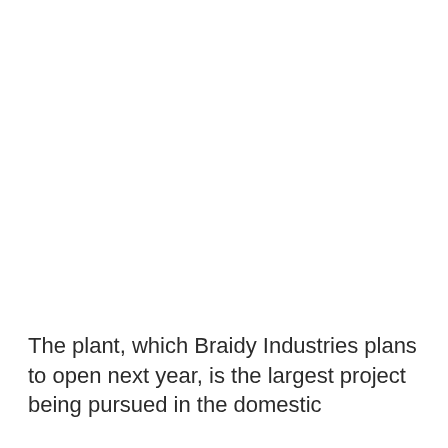The plant, which Braidy Industries plans to open next year, is the largest project being pursued in the domestic